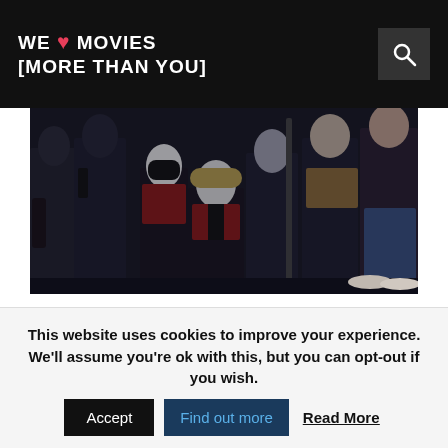WE [HEART] MOVIES [MORE THAN YOU]
[Figure (photo): Group photo of Suicide Squad characters in dark costumes, standing together in a dark setting.]
Following its debut at Comic-Con and a shoddy pirate copy doing the rounds, the first official trailer for Suicide Squad has arrived online. Directed by David Ayer, the movie centres on a group of supervillains who are drafted in by the government to go on highly dangerous missions.
This website uses cookies to improve your experience. We'll assume you're ok with this, but you can opt-out if you wish.